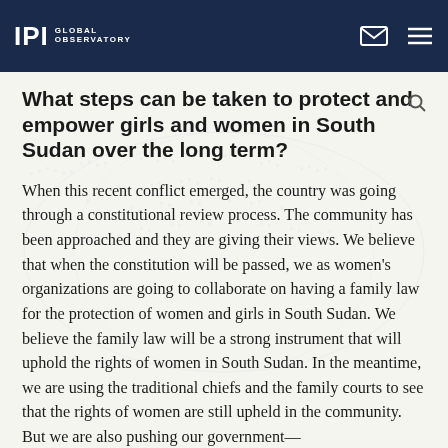IPI GLOBAL OBSERVATORY
What steps can be taken to protect and empower girls and women in South Sudan over the long term?
When this recent conflict emerged, the country was going through a constitutional review process. The community has been approached and they are giving their views. We believe that when the constitution will be passed, we as women's organizations are going to collaborate on having a family law for the protection of women and girls in South Sudan. We believe the family law will be a strong instrument that will uphold the rights of women in South Sudan. In the meantime, we are using the traditional chiefs and the family courts to see that the rights of women are still upheld in the community. But we are also pushing our government—